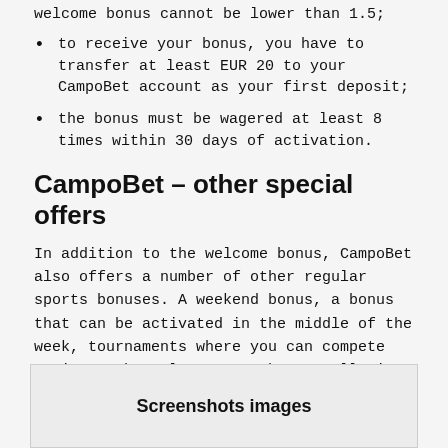welcome bonus cannot be lower than 1.5;
to receive your bonus, you have to transfer at least EUR 20 to your CampoBet account as your first deposit;
the bonus must be wagered at least 8 times within 30 days of activation.
CampoBet – other special offers
In addition to the welcome bonus, CampoBet also offers a number of other regular sports bonuses. A weekend bonus, a bonus that can be activated in the middle of the week, tournaments where you can compete against other players... There really is a lot to choose from at CampoBet – and you won't get bored!
Screenshots images